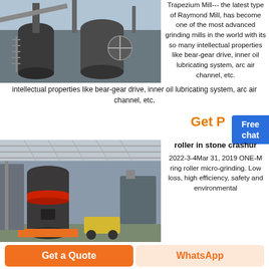[Figure (photo): Industrial grinding mill equipment installation at a factory site, showing large cylindrical machinery and pipes outdoors.]
Trapezium Mill--- the latest type of Raymond Mill, has become one of the most advanced grinding mills in the world with its so many intellectual properties like bear-gear drive, inner oil lubricating system, arc air channel, etc.
Get P
[Figure (illustration): Free chat button — blue rounded rectangle with 'Free chat' text in white.]
[Figure (photo): Large cylindrical roller mill machine inside an industrial warehouse facility.]
roller in stone crashur
2022-3-4Mar 31, 2019 ONE-M ring roller micro-grinding. Low loss, high efficiency, safety and environmental
Get a Quote
WhatsApp